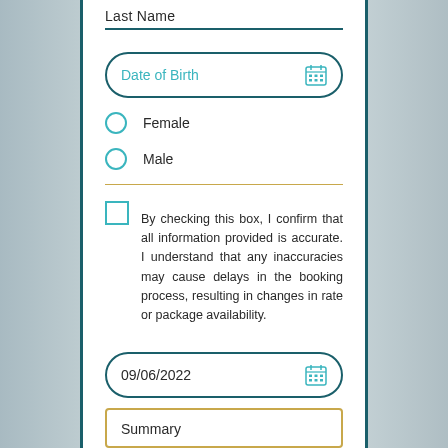Last Name
Date of Birth
Female
Male
By checking this box, I confirm that all information provided is accurate. I understand that any inaccuracies may cause delays in the booking process, resulting in changes in rate or package availability.
09/06/2022
Summary